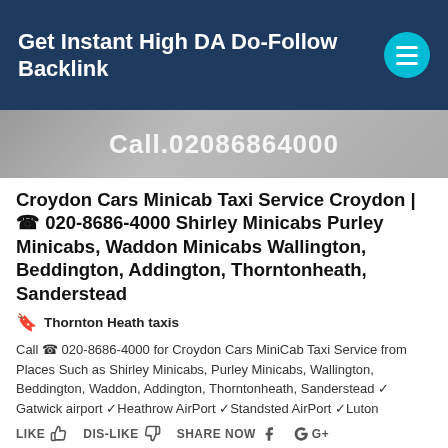Get Instant High DA Do-Follow Backlink
[Figure (photo): Hero image strip showing text: Call.02086864000]
Croydon Cars Minicab Taxi Service Croydon | ☎ 020-8686-4000 Shirley Minicabs Purley Minicabs, Waddon Minicabs Wallington, Beddington, Addington, Thorntonheath, Sanderstead
Thornton Heath taxis
Call ☎ 020-8686-4000 for Croydon Cars MiniCab Taxi Service from Places Such as Shirley Minicabs, Purley Minicabs, Wallington, Beddington, Waddon, Addington, Thorntonheath, Sanderstead ✓ Gatwick airport ✓Heathrow AirPort ✓Standsted AirPort ✓Luton
LIKE  DIS-LIKE  SHARE NOW